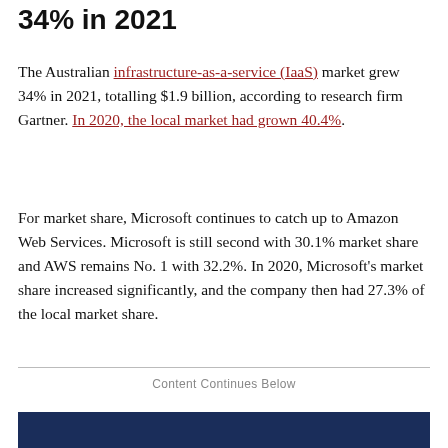34% in 2021
The Australian infrastructure-as-a-service (IaaS) market grew 34% in 2021, totalling $1.9 billion, according to research firm Gartner. In 2020, the local market had grown 40.4%.
For market share, Microsoft continues to catch up to Amazon Web Services. Microsoft is still second with 30.1% market share and AWS remains No. 1 with 32.2%. In 2020, Microsoft's market share increased significantly, and the company then had 27.3% of the local market share.
Content Continues Below
[Figure (other): Dark blue banner bar at bottom of page]